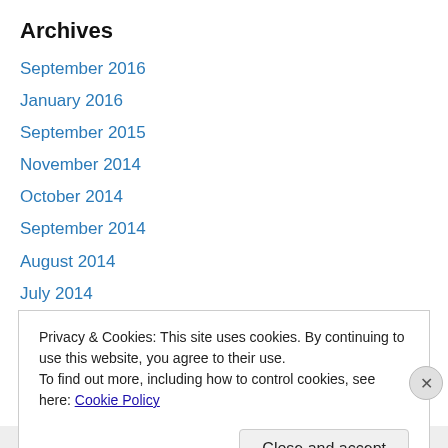Archives
September 2016
January 2016
September 2015
November 2014
October 2014
September 2014
August 2014
July 2014
June 2014
May 2014
April 2014
Privacy & Cookies: This site uses cookies. By continuing to use this website, you agree to their use.
To find out more, including how to control cookies, see here: Cookie Policy
Close and accept